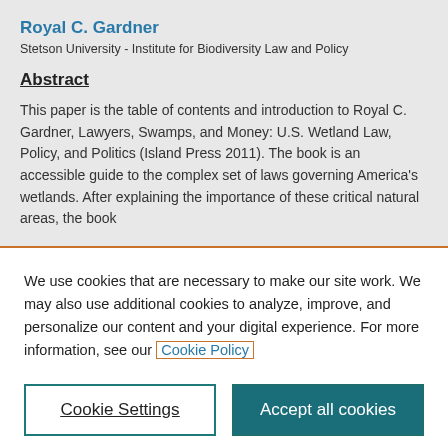Royal C. Gardner
Stetson University - Institute for Biodiversity Law and Policy
Abstract
This paper is the table of contents and introduction to Royal C. Gardner, Lawyers, Swamps, and Money: U.S. Wetland Law, Policy, and Politics (Island Press 2011). The book is an accessible guide to the complex set of laws governing America's wetlands. After explaining the importance of these critical natural areas, the book
We use cookies that are necessary to make our site work. We may also use additional cookies to analyze, improve, and personalize our content and your digital experience. For more information, see our Cookie Policy
Cookie Settings
Accept all cookies